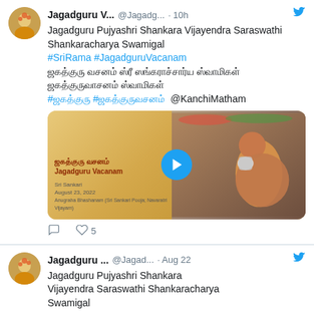Jagadguru V... @Jagadg... · 10h — Jagadguru Pujyashri Shankara Vijayendra Saraswathi Shankaracharya Swamigal #SriRama #JagadguruVacanam [Tamil text] #[Tamil] #[Tamil] @KanchiMatham
[Figure (screenshot): Video thumbnail showing Jagadguru Vacanam title card on left (orange/gold background with Tamil and English text, date August 23, 2022) and a religious figure on the right, with a blue play button overlay in the center]
5 likes
Jagadguru ... @Jagad... · Aug 22 — Jagadguru Pujyashri Shankara Vijayendra Saraswathi Shankaracharya Swamigal